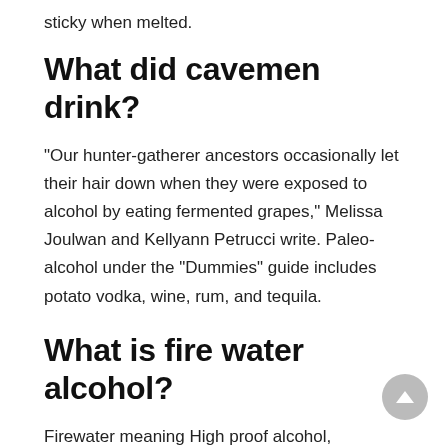sticky when melted.
What did cavemen drink?
“Our hunter-gatherer ancestors occasionally let their hair down when they were exposed to alcohol by eating fermented grapes,” Melissa Joulwan and Kellyann Petrucci write. Paleo-alcohol under the “Dummies” guide includes potato vodka, wine, rum, and tequila.
What is fire water alcohol?
Firewater meaning High proof alcohol, especially whiskey (especially in the context of its sale to or consumption by Native Americans). noun. High temperature hydraulic condensate discharged from industrial boilers